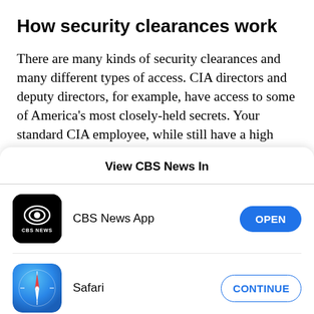How security clearances work
There are many kinds of security clearances and many different types of access. CIA directors and deputy directors, for example, have access to some of America's most closely-held secrets. Your standard CIA employee, while still have a high security clearance by federal government standards, does not
View CBS News In
[Figure (logo): CBS News App icon - black rounded square with CBS eye logo and 'CBS NEWS' text]
CBS News App
[Figure (logo): Safari browser icon - blue compass circle with red and white needle]
Safari